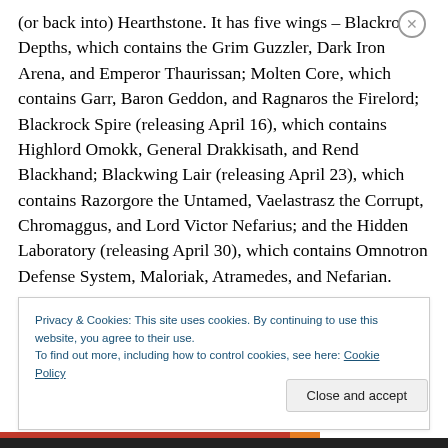(or back into) Hearthstone. It has five wings – Blackrock Depths, which contains the Grim Guzzler, Dark Iron Arena, and Emperor Thaurissan; Molten Core, which contains Garr, Baron Geddon, and Ragnaros the Firelord; Blackrock Spire (releasing April 16), which contains Highlord Omokk, General Drakkisath, and Rend Blackhand; Blackwing Lair (releasing April 23), which contains Razorgore the Untamed, Vaelastrasz the Corrupt, Chromaggus, and Lord Victor Nefarius; and the Hidden Laboratory (releasing April 30), which contains Omnotron Defense System, Maloriak, Atramedes, and Nefarian.
Privacy & Cookies: This site uses cookies. By continuing to use this website, you agree to their use. To find out more, including how to control cookies, see here: Cookie Policy
Close and accept